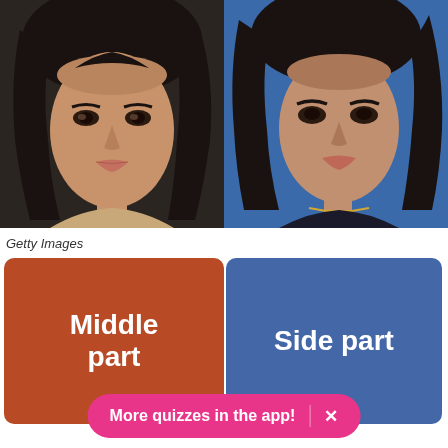[Figure (photo): Two side-by-side photos of a woman (Kim Kardashian lookalike or Kim Kardashian). Left photo has dark background, right photo has blue background. Both show the same woman with long dark hair and similar makeup.]
Getty Images
[Figure (infographic): Two choice buttons side by side: left button is brown/rust colored with white bold text 'Middle part', right button is blue with white bold text 'Side part']
More quizzes in the app!